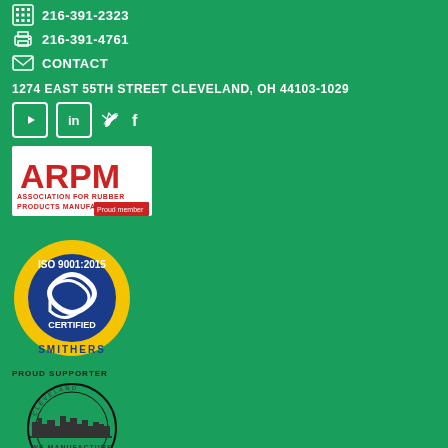216-391-2323
216-391-4761
CONTACT
1274 EAST 55TH STREET CLEVELAND, OH 44103-1029
[Figure (logo): Social media icons: YouTube, LinkedIn, Twitter, Facebook]
[Figure (logo): ARPM Association for Rubber Products Manufacturers - Proud member logo]
[Figure (logo): ISO 9001:2015 Certified - Smithers certification badge]
[Figure (logo): Proud Supporter - We Manufacture CLE Cleveland manufacturing badge]